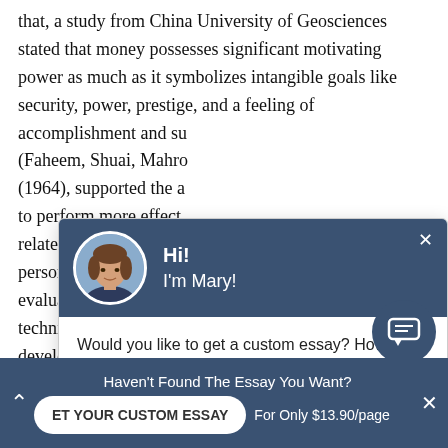that, a study from China University of Geosciences stated that money possesses significant motivating power as much as it symbolizes intangible goals like security, power, prestige, and a feeling of accomplishment and su... (Faheem, Shuai, Mahro... (1964), supported the a... to perform more effect... related to performance... personal bias or prejud... evaluation of an emplo... techniques of measurin... developed, in general t... varies with the type of work. According to
[Figure (screenshot): Chat popup with avatar of a woman named Mary. Header says 'Hi! I'm Mary!' on dark blue background. Body text: 'Would you like to get a custom essay? How about receiving a customized one?' with 'Check it out' underlined link.]
[Figure (screenshot): Round dark blue chat bubble button with message icon in bottom right corner.]
Haven't Found The Essay You Want?  GET YOUR CUSTOM ESSAY  For Only $13.90/page  X